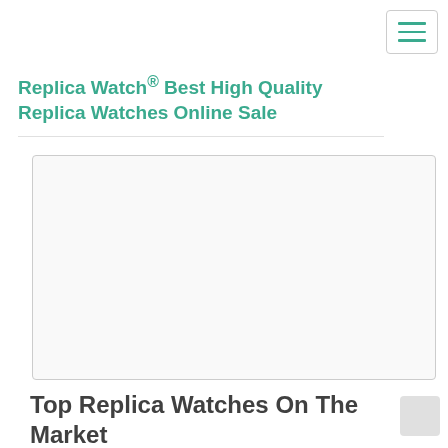Replica Watch® Best High Quality Replica Watches Online Sale
[Figure (other): Empty advertisement or image placeholder box with light gray border and white/light background]
Top Replica Watches On The Market